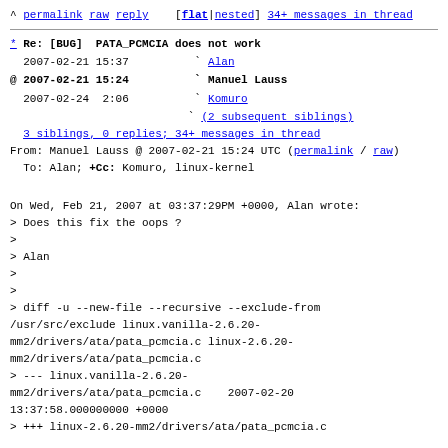^ permalink raw reply [flat|nested] 34+ messages in thread
* Re: [BUG]  PATA_PCMCIA does not work
  2007-02-21 15:37          ` Alan
@ 2007-02-21 15:24          ` Manuel Lauss
  2007-02-24  2:06          ` Komuro
                             ` (2 subsequent siblings)
  3 siblings, 0 replies; 34+ messages in thread
From: Manuel Lauss @ 2007-02-21 15:24 UTC (permalink / raw)
  To: Alan; +Cc: Komuro, linux-kernel
On Wed, Feb 21, 2007 at 03:37:29PM +0000, Alan wrote:
> Does this fix the oops ?
>
> Alan
>
>
> diff -u --new-file --recursive --exclude-from /usr/src/exclude linux.vanilla-2.6.20-mm2/drivers/ata/pata_pcmcia.c linux-2.6.20-mm2/drivers/ata/pata_pcmcia.c
> --- linux.vanilla-2.6.20-mm2/drivers/ata/pata_pcmcia.c   2007-02-20 13:37:58.000000000 +0000
> +++ linux-2.6.20-mm2/drivers/ata/pata_pcmcia.c